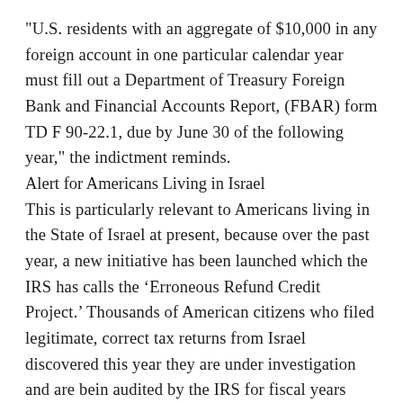“U.S. residents with an aggregate of $10,000 in any foreign account in one particular calendar year must fill out a Department of Treasury Foreign Bank and Financial Accounts Report, (FBAR) form TD F 90-22.1, due by June 30 of the following year,” the indictment reminds.
Alert for Americans Living in Israel
This is particularly relevant to Americans living in the State of Israel at present, because over the past year, a new initiative has been launched which the IRS has calls the ‘Erroneous Refund Credit Project.’ Thousands of American citizens who filed legitimate, correct tax returns from Israel discovered this year they are under investigation and are bein audited by the IRS for fiscal years 2009 and 2010.
According to an IRS source who requested anonymity because he was not authorized to speak